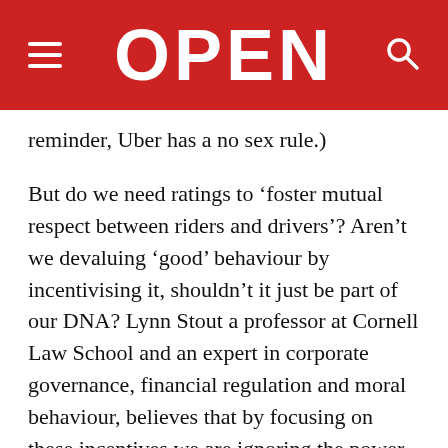OPEN
reminder, Uber has a no sex rule.)
But do we need ratings to ‘foster mutual respect between riders and drivers’? Aren’t we devaluing ‘good’ behaviour by incentivising it, shouldn’t it just be part of our DNA? Lynn Stout a professor at Cornell Law School and an expert in corporate governance, financial regulation and moral behaviour, believes that by focusing on these incentives we are ignoring the power of our conscience. In her essay, ‘How Economists Turned Us Blind to Our Own Goodness,’ she writes: ‘This emphasis on ‘incentives’ and ‘accountability’ relies